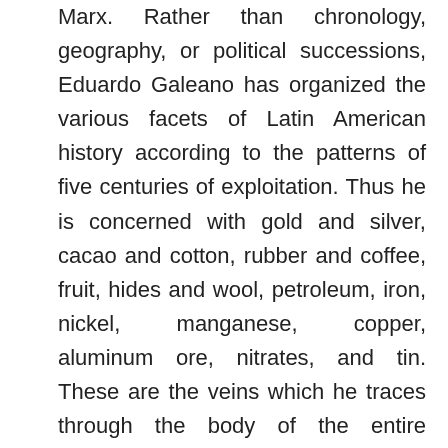Marx. Rather than chronology, geography, or political successions, Eduardo Galeano has organized the various facets of Latin American history according to the patterns of five centuries of exploitation. Thus he is concerned with gold and silver, cacao and cotton, rubber and coffee, fruit, hides and wool, petroleum, iron, nickel, manganese, copper, aluminum ore, nitrates, and tin. These are the veins which he traces through the body of the entire continent, up to the Rio Grande and throughout the Caribbean, and all the way to their open ends where they empty into the coffers of wealth in the United States and Europe. Weaving fact and imagery into a rich tapestry, Galeano fuses scientific analysis with the passions of a plundered and suffering people. An immense gathering of materials is framed with a vigorous style that never falters in its command of themes. All readers interested in great historical,